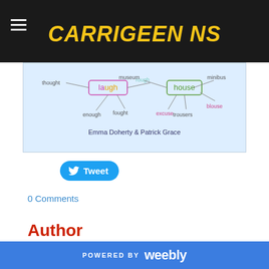CARRIGEEN NS
[Figure (other): Word association diagram showing 'laugh' and 'house' word families with connected words (thought, rough, enough, fought, museum, excuse, trousers, minibus, blouse). Caption: Emma Doherty & Patrick Grace]
Tweet
0 Comments
Author
Write something about yourself. No need to be fancy, just an overview.
Archives
POWERED BY weebly